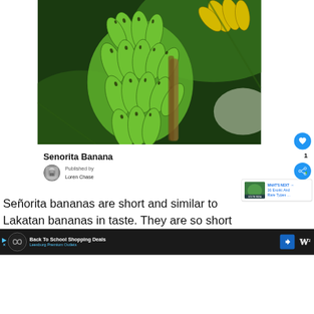[Figure (photo): Close-up photograph of a bunch of green and yellow bananas on the tree, with green leaves in the background.]
Senorita Banana
Published by
Loren Chase
WHAT'S NEXT → 16 Exotic And Rare Types ...
Señorita bananas are short and similar to Lakatan bananas in taste. They are so short th...
Back To School Shopping Deals Leesburg Premium Outlets